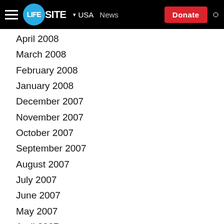LifeSite — USA | News | Donate
April 2008
March 2008
February 2008
January 2008
December 2007
November 2007
October 2007
September 2007
August 2007
July 2007
June 2007
May 2007
April 2007
March 2007
February 2007
January 2007
December 2006